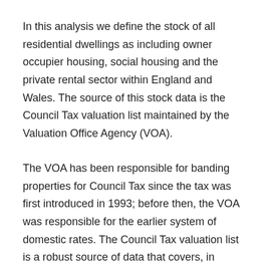In this analysis we define the stock of all residential dwellings as including owner occupier housing, social housing and the private rental sector within England and Wales. The source of this stock data is the Council Tax valuation list maintained by the Valuation Office Agency (VOA).
The VOA has been responsible for banding properties for Council Tax since the tax was first introduced in 1993; before then, the VOA was responsible for the earlier system of domestic rates. The Council Tax valuation list is a robust source of data that covers, in principle, all residential properties in England and Wales.